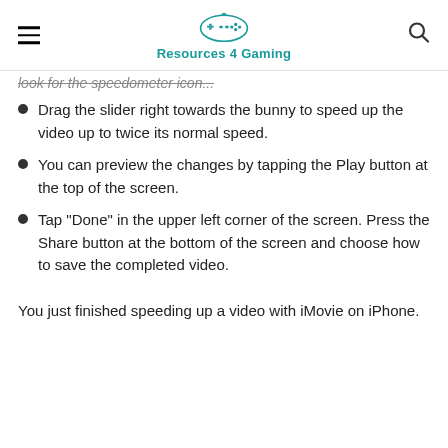Resources 4 Gaming
Drag the slider right towards the bunny to speed up the video up to twice its normal speed.
You can preview the changes by tapping the Play button at the top of the screen.
Tap "Done" in the upper left corner of the screen. Press the Share button at the bottom of the screen and choose how to save the completed video.
You just finished speeding up a video with iMovie on iPhone.